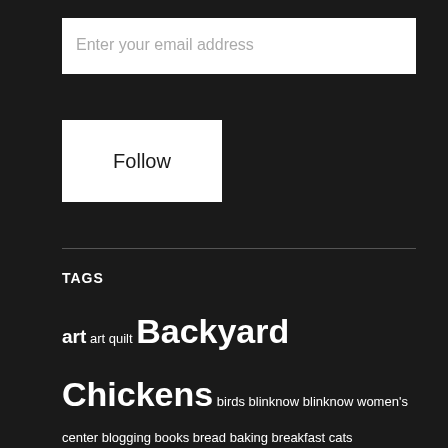Enter your email address
Follow
TAGS
art art quilt Backyard Chickens birds blinknow blinknow women's center blogging books bread baking breakfast cats children christmas coincidence connection cooking coping cowboy death dinner discipline failure Faith Ringgold family camp farming fear feminism Food friendship gift buying grandmother granola health holiday stress horses kitchen knitathon Knitting knitting bag knitting life